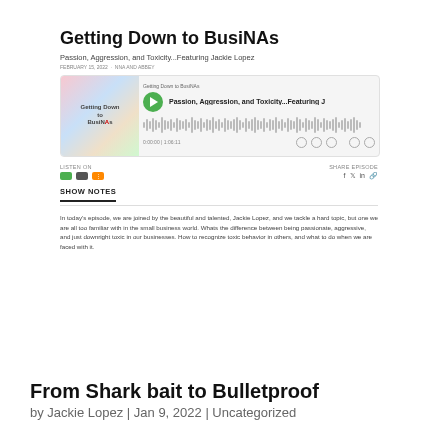Getting Down to BusiNAs
Passion, Aggression, and Toxicity...Featuring Jackie Lopez
FEBRUARY 15, 2022  ·  NNA AND ABBEY
[Figure (screenshot): Podcast player embed showing episode 'Passion, Aggression, and Toxicity...Featuring J' with green play button, waveform, and controls]
LISTEN ON
SHARE EPISODE
SHOW NOTES
In today's episode, we are joined by the beautiful and talented, Jackie Lopez, and we tackle a hard topic, but one we are all too familiar with in the small business world. Whats the difference between being passionate, aggressive, and just downright toxic in our businesses. How to recognize toxic behavior in others, and what to do when we are faced with it.
From Shark bait to Bulletproof
by Jackie Lopez | Jan 9, 2022 | Uncategorized